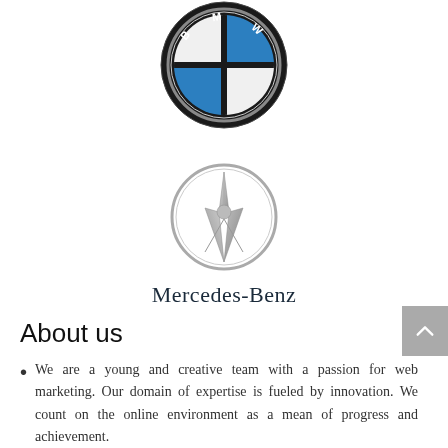[Figure (logo): BMW circular logo with blue and white quadrants and black ring with BMW text]
[Figure (logo): Mercedes-Benz three-pointed star logo in silver circle]
Mercedes-Benz
About us
We are a young and creative team with a passion for web marketing. Our domain of expertise is fueled by innovation. We count on the online environment as a mean of progress and achievement.